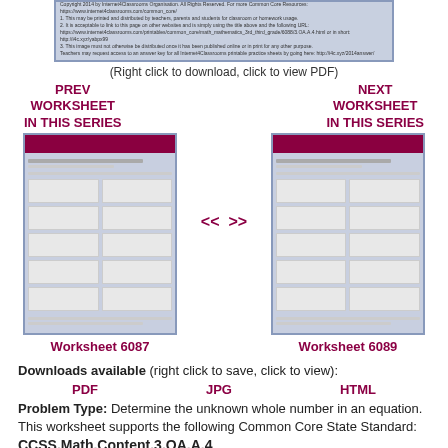[Figure (screenshot): Preview of a worksheet document with blue-gray border]
(Right click to download, click to view PDF)
PREV WORKSHEET IN THIS SERIES
NEXT WORKSHEET IN THIS SERIES
[Figure (screenshot): Thumbnail preview of Worksheet 6087]
[Figure (screenshot): Thumbnail preview of Worksheet 6089]
Worksheet 6087
Worksheet 6089
Downloads available (right click to save, click to view):
PDF   JPG   HTML
Problem Type: Determine the unknown whole number in an equation.
This worksheet supports the following Common Core State Standard:
CCSS.Math.Content.3.OA.A.4
Determine the unknown whole number in a multiplication or division equation relating three whole numbers. For example, determine the unknown number